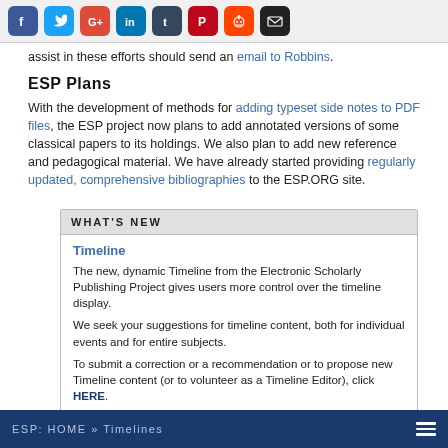[Figure (other): Social media share icons: Facebook, Twitter, Google+, LinkedIn, Tumblr, Pinterest, Reddit, Email]
assist in these efforts should send an email to Robbins.
ESP Plans
With the development of methods for adding typeset side notes to PDF files, the ESP project now plans to add annotated versions of some classical papers to its holdings. We also plan to add new reference and pedagogical material. We have already started providing regularly updated, comprehensive bibliographies to the ESP.ORG site.
WHAT'S NEW
Timeline
The new, dynamic Timeline from the Electronic Scholarly Publishing Project gives users more control over the timeline display.
We seek your suggestions for timeline content, both for individual events and for entire subjects.
To submit a correction or a recommendation or to propose new Timeline content (or to volunteer as a Timeline Editor), click HERE.
YOU CAN HELP
ESP: HOME » Timelines